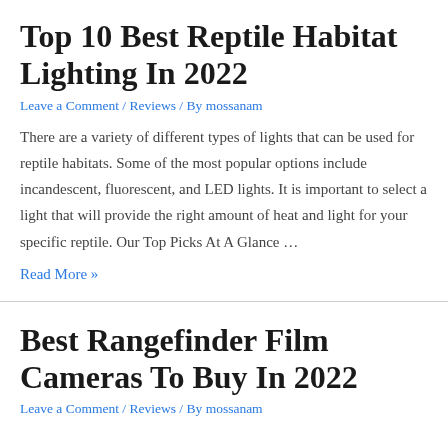Top 10 Best Reptile Habitat Lighting In 2022
Leave a Comment / Reviews / By mossanam
There are a variety of different types of lights that can be used for reptile habitats. Some of the most popular options include incandescent, fluorescent, and LED lights. It is important to select a light that will provide the right amount of heat and light for your specific reptile. Our Top Picks At A Glance …
Read More »
Best Rangefinder Film Cameras To Buy In 2022
Leave a Comment / Reviews / By mossanam